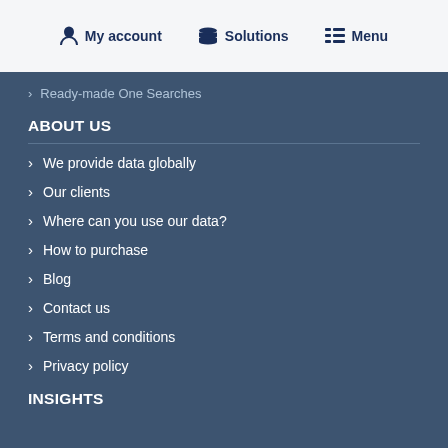My account | Solutions | Menu
> Ready-made One Searches
ABOUT US
> We provide data globally
> Our clients
> Where can you use our data?
> How to purchase
> Blog
> Contact us
> Terms and conditions
> Privacy policy
INSIGHTS